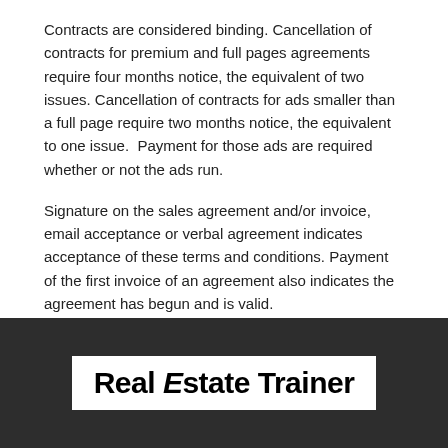Contracts are considered binding. Cancellation of contracts for premium and full pages agreements require four months notice, the equivalent of two issues. Cancellation of contracts for ads smaller than a full page require two months notice, the equivalent to one issue.  Payment for those ads are required whether or not the ads run.
Signature on the sales agreement and/or invoice, email acceptance or verbal agreement indicates acceptance of these terms and conditions. Payment of the first invoice of an agreement also indicates the agreement has begun and is valid.
FOLLOW US ON INSTAGRAM
@REALESTATETRAINER
[Figure (logo): Real Estate Trainer logo — bold black text on white background with the 'E' in 'Estate' in italic style]